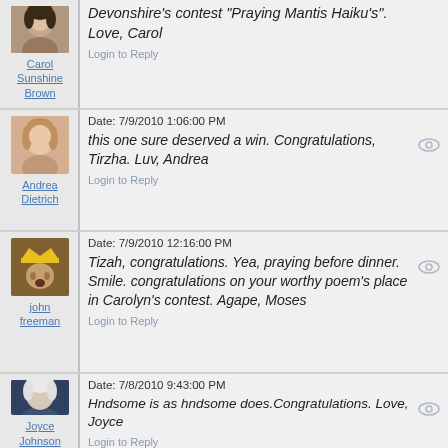Congratulations Tizah on your win in Carolyn Devonshire's contest "Praying Mantis Haiku's". Love, Carol
Login to Reply
Date: 7/9/2010 1:06:00 PM
this one sure deserved a win. Congratulations, Tirzha. Luv, Andrea
Login to Reply
Date: 7/9/2010 12:16:00 PM
Tizah, congratulations. Yea, praying before dinner. Smile. congratulations on your worthy poem's place in Carolyn's contest. Agape, Moses
Login to Reply
Date: 7/8/2010 9:43:00 PM
Hndsome is as hndsome does.Congratulations. Love, Joyce
Login to Reply